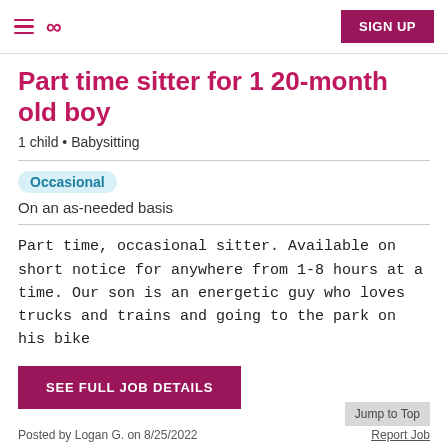≡ ∞ SIGN UP
Part time sitter for 1 20-month old boy
1 child • Babysitting
Occasional
On an as-needed basis
Part time, occasional sitter. Available on short notice for anywhere from 1-8 hours at a time. Our son is an energetic guy who loves trucks and trains and going to the park on his bike
SEE FULL JOB DETAILS
Posted by Logan G. on 8/25/2022  Jump to Top  Report Job